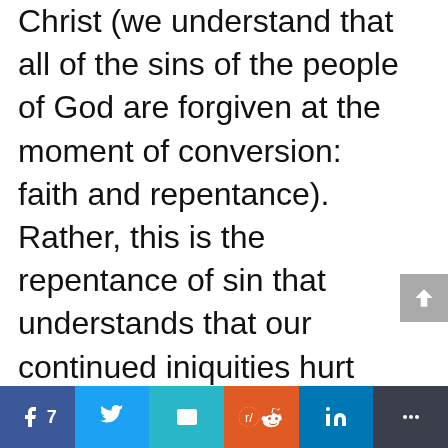Christ (we understand that all of the sins of the people of God are forgiven at the moment of conversion: faith and repentance). Rather, this is the repentance of sin that understands that our continued iniquities hurt our communion with Christ. Thus, with hurting hearts and
[Figure (other): Social share bar with Facebook (7), Twitter, Email, Reddit, LinkedIn, and More buttons]